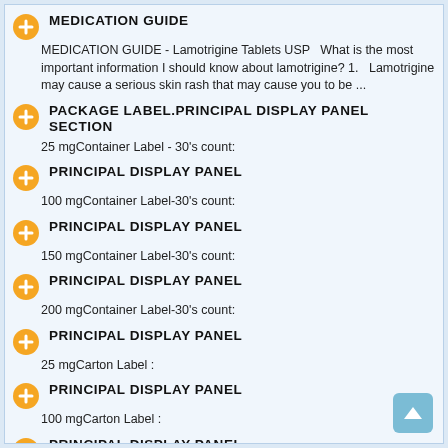MEDICATION GUIDE
MEDICATION GUIDE - Lamotrigine Tablets USP   What is the most important information I should know about lamotrigine? 1.   Lamotrigine may cause a serious skin rash that may cause you to be ...
PACKAGE LABEL.PRINCIPAL DISPLAY PANEL SECTION
25 mgContainer Label - 30's count:
PRINCIPAL DISPLAY PANEL
100 mgContainer Label-30's count:
PRINCIPAL DISPLAY PANEL
150 mgContainer Label-30's count:
PRINCIPAL DISPLAY PANEL
200 mgContainer Label-30's count:
PRINCIPAL DISPLAY PANEL
25 mgCarton Label :
PRINCIPAL DISPLAY PANEL
100 mgCarton Label :
PRINCIPAL DISPLAY PANEL